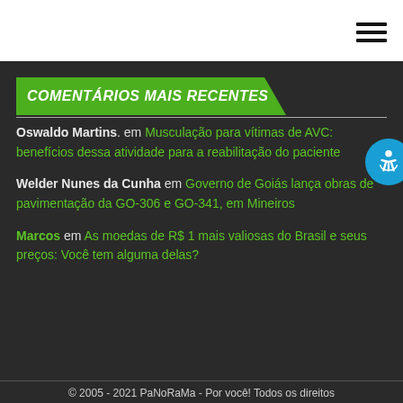Navigation header with hamburger menu icon
COMENTÁRIOS MAIS RECENTES
Oswaldo Martins. em Musculação para vítimas de AVC: benefícios dessa atividade para a reabilitação do paciente
Welder Nunes da Cunha em Governo de Goiás lança obras de pavimentação da GO-306 e GO-341, em Mineiros
Marcos em As moedas de R$ 1 mais valiosas do Brasil e seus preços: Você tem alguma delas?
© 2005 - 2021 PaNoRaMa - Por você! Todos os direitos